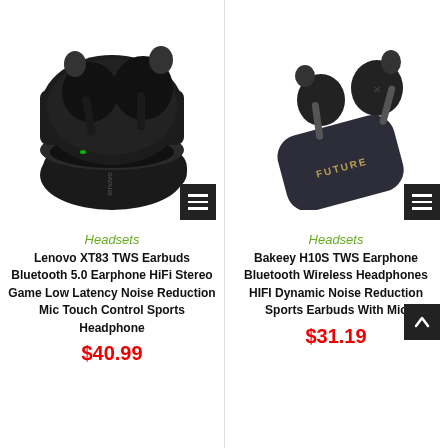[Figure (photo): Lenovo XT83 TWS earbuds in black charging case, open lid showing two earbuds with stems]
Headsets
Lenovo XT83 TWS Earbuds Bluetooth 5.0 Earphone HiFi Stereo Game Low Latency Noise Reduction Mic Touch Control Sports Headphone
$40.99
[Figure (photo): Bakeey H10S TWS earphones in dark grey charging case with FUTURE branding, two earbuds visible with stems]
Headsets
Bakeey H10S TWS Earphone Bluetooth Wireless Headphones HIFI Dynamic Noise Reduction Sports Earbuds With Mic
$31.19